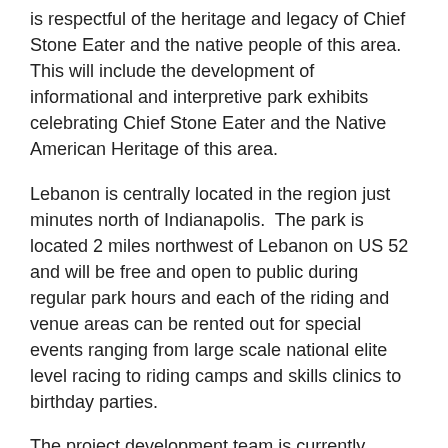is respectful of the heritage and legacy of Chief Stone Eater and the native people of this area.  This will include the development of informational and interpretive park exhibits celebrating Chief Stone Eater and the Native American Heritage of this area.
Lebanon is centrally located in the region just minutes north of Indianapolis.  The park is located 2 miles northwest of Lebanon on US 52 and will be free and open to public during regular park hours and each of the riding and venue areas can be rented out for special events ranging from large scale national elite level racing to riding camps and skills clinics to birthday parties.
The project development team is currently seeking corporate support and sponsorships, through financial and in-kind contributions toward the park development.  Those interested in supporting these efforts or looking for additional information should